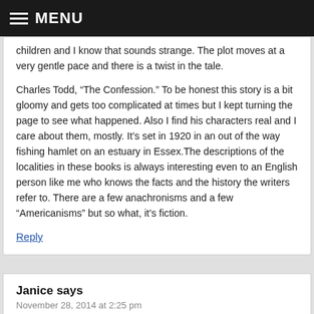MENU
children and I know that sounds strange. The plot moves at a very gentle pace and there is a twist in the tale.

Charles Todd, “The Confession.” To be honest this story is a bit gloomy and gets too complicated at times but I kept turning the page to see what happened. Also I find his characters real and I care about them, mostly. It’s set in 1920 in an out of the way fishing hamlet on an estuary in Essex.The descriptions of the localities in these books is always interesting even to an English person like me who knows the facts and the history the writers refer to. There are a few anachronisms and a few “Americanisms” but so what, it’s fiction.
Reply
Janice says
November 28, 2014 at 2:25 pm